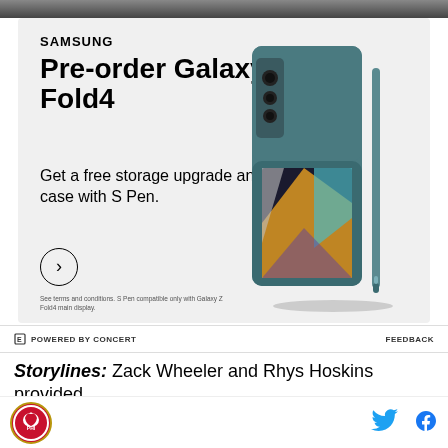[Figure (photo): Top strip showing a dark background photo (partial view of a person or scene)]
[Figure (infographic): Samsung advertisement for Galaxy Z Fold4 pre-order. Shows Samsung logo, headline 'Pre-order Galaxy Z Fold4', subtext 'Get a free storage upgrade and case with S Pen.', a circular arrow button, fine print about terms and S Pen compatibility, and product image of the Samsung Galaxy Z Fold4 phone with case and S Pen in teal color.]
POWERED BY CONCERT
FEEDBACK
Storylines: Zack Wheeler and Rhys Hoskins provided
[Figure (logo): Team logo - circular emblem with a horse/stallion design in red and gold]
[Figure (logo): Twitter bird icon in blue]
[Figure (logo): Facebook 'f' icon in blue]